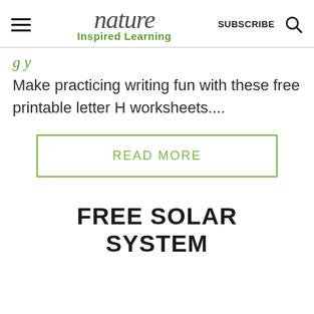nature Inspired Learning | SUBSCRIBE
Make practicing writing fun with these free printable letter H worksheets....
READ MORE
FREE SOLAR SYSTEM